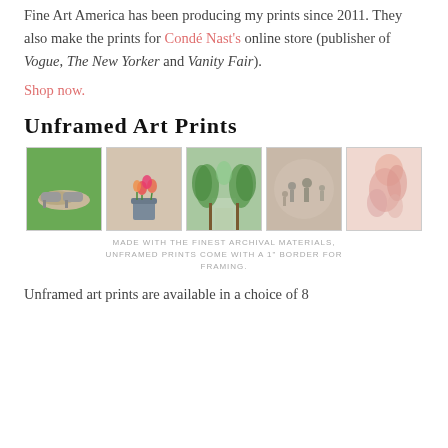Fine Art America has been producing my prints since 2011. They also make the prints for Condé Nast's online store (publisher of Vogue, The New Yorker and Vanity Fair).
Shop now.
Unframed Art Prints
[Figure (photo): Five unframed art prints shown in a horizontal row: shoes on green background, flowers in bucket, tree-lined path, people in rain, abstract figure.]
MADE WITH THE FINEST ARCHIVAL MATERIALS, UNFRAMED PRINTS COME WITH A 1" BORDER FOR FRAMING.
Unframed art prints are available in a choice of 8